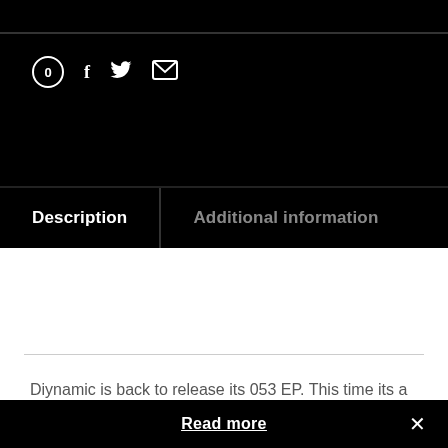[Figure (infographic): Social sharing icons: circle with 0, Facebook f, Twitter bird, envelope/mail icon]
Description
Additional information
Diynamic is back to release its 053 EP. This time its a classic 4 tracker showcasing some of the finest young
Read more   X